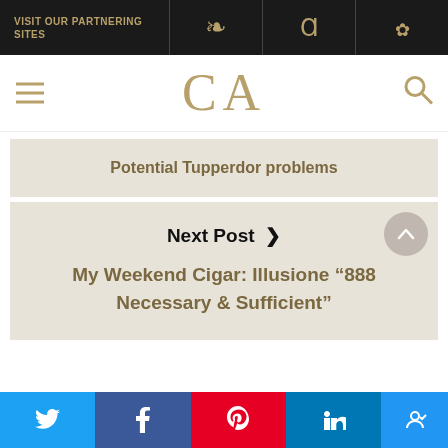VISIT OUR PARTNERING SITES
CA
Potential Tupperdor problems
Next Post ›
My Weekend Cigar: Illusione “888 Necessary & Sufficient”
Twitter | Facebook | Pinterest | LinkedIn | Accessibility